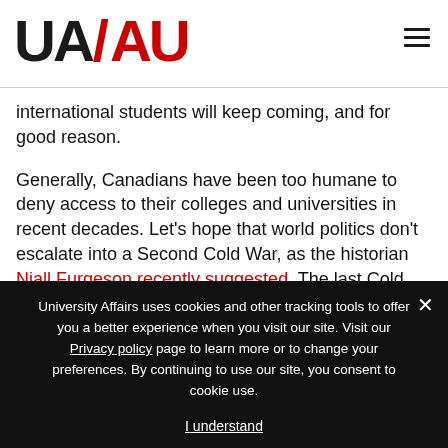[Figure (logo): UA/AU University Affairs logo in black and red]
international students will keep coming, and for good reason.
Generally, Canadians have been too humane to deny access to their colleges and universities in recent decades. Let's hope that world politics don't escalate into a Second Cold War, as the historian Niall Furgeson recently suggested. The last Cold War (1947-1991) had adverse effects on
University Affairs uses cookies and other tracking tools to offer you a better experience when you visit our site. Visit our Privacy policy page to learn more or to change your preferences. By continuing to use our site, you consent to cookie use.
I understand